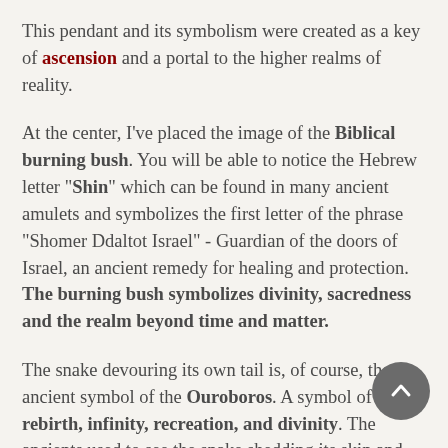This pendant and its symbolism were created as a key of ascension and a portal to the higher realms of reality.

At the center, I've placed the image of the Biblical burning bush. You will be able to notice the Hebrew letter "Shin" which can be found in many ancient amulets and symbolizes the first letter of the phrase "Shomer Ddaltot Israel" - Guardian of the doors of Israel, an ancient remedy for healing and protection. The burning bush symbolizes divinity, sacredness and the realm beyond time and matter.

The snake devouring its own tail is, of course, the ancient symbol of the Ouroboros. A symbol of rebirth, infinity, recreation, and divinity. The ancients used to see the snake shedding its skin and being born "again" and used this symbol to represent recreation, healing and so forth. It was during the vision of the burning bush in the desert, when Moses asked God to give him a sign, to be able to perform a miracle to the people of Israel